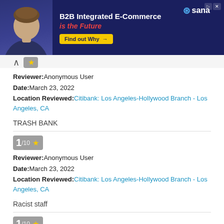[Figure (other): Advertisement banner for Sana B2B Integrated E-Commerce. Dark navy background with a man in a dark shirt on the left. Text reads 'B2B Integrated E-Commerce is the Future' with a 'Find out Why' button and Sana logo.]
Reviewer: Anonymous User
Date: March 23, 2022
Location Reviewed: Citibank: Los Angeles-Hollywood Branch - Los Angeles, CA
TRASH BANK
1/10 ★
Reviewer: Anonymous User
Date: March 23, 2022
Location Reviewed: Citibank: Los Angeles-Hollywood Branch - Los Angeles, CA
Racist staff
1/10 ★